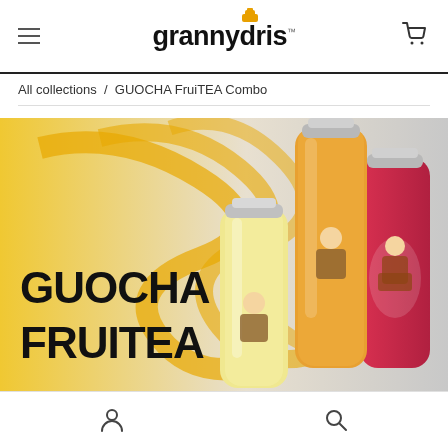grannydoris
All collections / GUOCHA FruiTEA Combo
[Figure (photo): Product promotional image for GUOCHA FRUITEA showing three glass beverage bottles with illustrated labels of a girl, set against a yellow brushstroke background. Bold black text reads GUOCHA FRUITEA.]
Account | Search